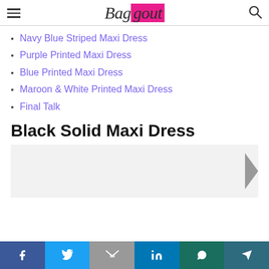Baggout
Navy Blue Striped Maxi Dress
Purple Printed Maxi Dress
Blue Printed Maxi Dress
Maroon & White Printed Maxi Dress
Final Talk
Black Solid Maxi Dress
[Figure (screenshot): Partial product image area with a grey background and a right-arrow navigation control visible on the right edge.]
Social share bar: Facebook, Twitter, Gmail, LinkedIn, WhatsApp, Telegram